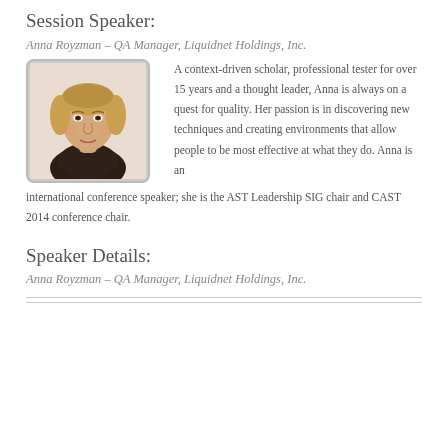Session Speaker:
Anna Royzman – QA Manager, Liquidnet Holdings, Inc.
[Figure (photo): Headshot photo of Anna Royzman, a woman with shoulder-length blonde hair, facing the camera]
A context-driven scholar, professional tester for over 15 years and a thought leader, Anna is always on a quest for quality. Her passion is in discovering new techniques and creating environments that allow people to be most effective at what they do. Anna is an international conference speaker; she is the AST Leadership SIG chair and CAST 2014 conference chair.
Speaker Details:
Anna Royzman – QA Manager, Liquidnet Holdings, Inc.